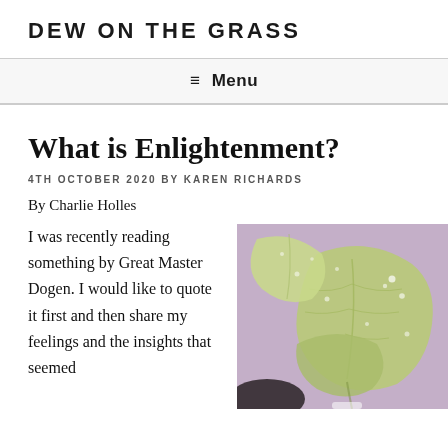DEW ON THE GRASS
≡ Menu
What is Enlightenment?
4TH OCTOBER 2020 BY KAREN RICHARDS
By Charlie Holles
I was recently reading something by Great Master Dogen. I would like to quote it first and then share my feelings and the insights that seemed
[Figure (photo): Close-up photograph of light green leaves with water droplets on a purple/lavender background]